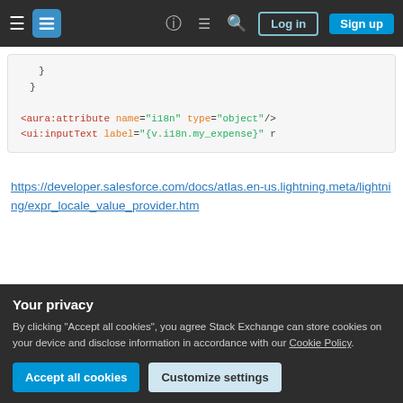Stack Exchange navigation bar with Log in and Sign up buttons
}
    }

<aura:attribute name="i18n" type="object"/>
<ui:inputText label="{v.i18n.my_expense}" r
https://developer.salesforce.com/docs/atlas.en-us.lightning.meta/lightning/expr_locale_value_provider.htm
Share
Improve this answer
answered Nov 1, 2016 at 13:59
Pavlonator
Your privacy
By clicking "Accept all cookies", you agree Stack Exchange can store cookies on your device and disclose information in accordance with our Cookie Policy.
Accept all cookies
Customize settings
Add a comment